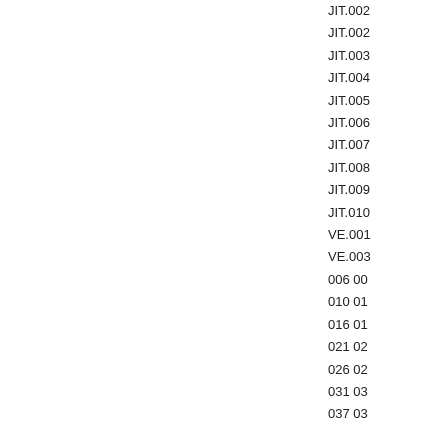|  |  | JIT.002 |
|  |  | JIT.002 |
|  |  | JIT.003 |
|  |  | JIT.004 |
|  |  | JIT.005 |
|  |  | JIT.006 |
|  |  | JIT.007 |
|  |  | JIT.008 |
|  |  | JIT.009 |
|  |  | JIT.010 |
|  |  | VE.001 |
|  |  | VE.003 |
|  |  | 006 00 |
|  |  | 010 01 |
|  |  | 016 01 |
|  |  | 021 02 |
|  |  | 026 02 |
|  |  | 031 03 |
|  |  | 037 03 |